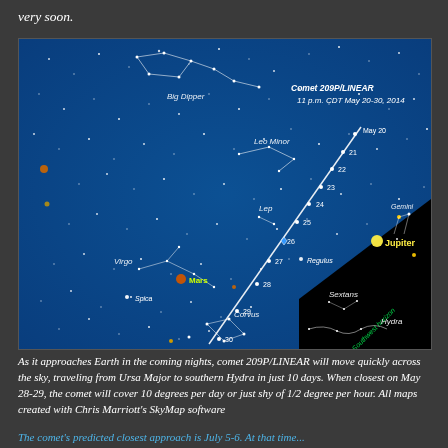very soon.
[Figure (map): Star map showing the path of Comet 209P/LINEAR at 11 p.m. CDT May 20-30, 2014. The map shows constellations including Big Dipper, Leo Minor, Lep, Virgo, Corvus, Sextans, Hydra, and Gemini. Notable objects labeled include Mars, Spica, Regulus, and Jupiter. The comet's path is shown as a line with date markers from May 20 through May 30. The Southwest horizon is indicated in the lower right corner.]
As it approaches Earth in the coming nights, comet 209P/LINEAR will move quickly across the sky, traveling from Ursa Major to southern Hydra in just 10 days. When closest on May 28-29, the comet will cover 10 degrees per day or just shy of 1/2 degree per hour. All maps created with Chris Marriott's SkyMap software
The comet's predicted closest approach is July 5-6. At that time...